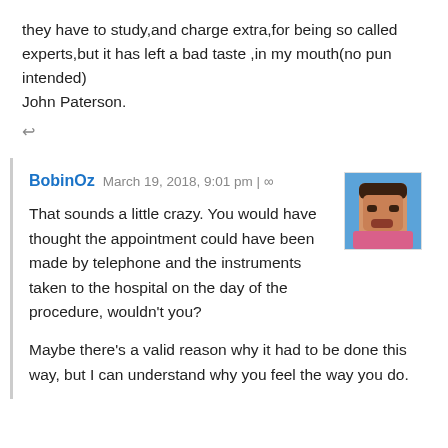they have to study,and charge extra,for being so called experts,but it has left a bad taste ,in my mouth(no pun intended)
John Paterson.
↩
BobinOz March 19, 2018, 9:01 pm | ∞
[Figure (photo): Avatar photo of BobinOz — a man against a blue sky background]
That sounds a little crazy. You would have thought the appointment could have been made by telephone and the instruments taken to the hospital on the day of the procedure, wouldn't you?
Maybe there's a valid reason why it had to be done this way, but I can understand why you feel the way you do.